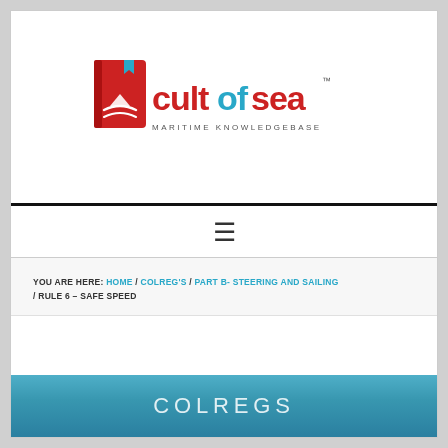[Figure (logo): Cult of Sea logo — red book icon with ship graphic and text 'cultofsea MARITIME KNOWLEDGEBASE', with 'cult' in red and 'ofsea' in cyan and TM mark]
≡
YOU ARE HERE: HOME / COLREG'S / PART B- STEERING AND SAILING / RULE 6 – SAFE SPEED
[Figure (screenshot): Blue ocean background banner with text COLREGS in large light uppercase letters]